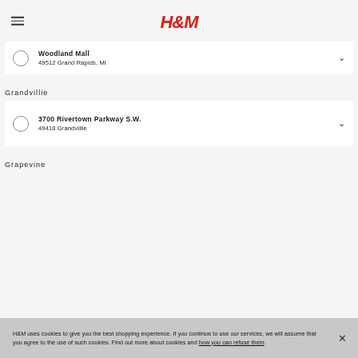H&M
Woodland Mall
49512 Grand Rapids, MI
Grandvillie
3700 Rivertown Parkway S.W.
49418 Grandvillie
Grapevine
H&M uses cookies to give you the best shopping experience. If you continue to use our services, we will assume that you agree to the use of such cookies. Find out more about cookies and how you can refuse them